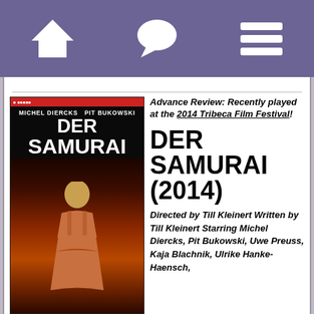Navigation bar with home, chat, and menu icons
[Figure (photo): Movie poster for Der Samurai (2014) featuring a figure in a red/orange dress from behind on a dark background, with text MICHEL DIERCKS PIT BUKOWSKI and DER SAMURAI]
Advance Review: Recently played at the 2014 Tribeca Film Festival!
DER SAMURAI (2014)
Directed by Till Kleinert Written by Till Kleinert Starring Michel Diercks, Pit Bukowski, Uwe Preuss, Kaja Blachnik, Ulrike Hanke-Haensch,